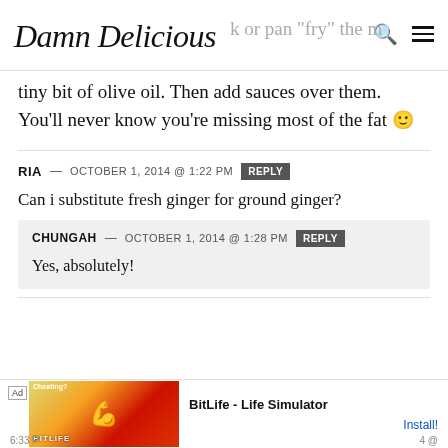Damn Delicious
tiny bit of olive oil. Then add sauces over them. You'll never know you're missing most of the fat 🙂
RIA — OCTOBER 1, 2014 @ 1:22 PM  REPLY
Can i substitute fresh ginger for ground ginger?
  CHUNGAH — OCTOBER 1, 2014 @ 1:28 PM  REPLY
  Yes, absolutely!
MON... 4 @ 6:33 P...
[Figure (screenshot): Advertisement banner for BitLife - Life Simulator app with Install button]